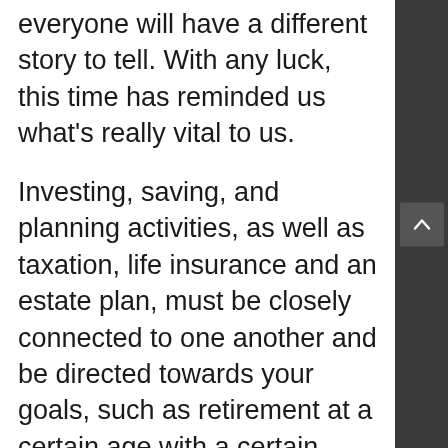everyone will have a different story to tell. With any luck, this time has reminded us what's really vital to us.

Investing, saving, and planning activities, as well as taxation, life insurance and an estate plan, must be closely connected to one another and be directed towards your goals, such as retirement at a certain age with a certain amount of funds. We may all have dreams but if you really want to make them happen, Lanaus says, it's time to start working out what they will cost. If you do have a retirement plan in mind, you may want to run some numbers through this retirement calculator. Without a well-rounded plan,